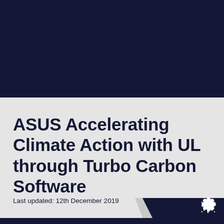[Figure (illustration): Dark navy blue banner covering the top portion of the page]
ASUS Accelerating Climate Action with UL through Turbo Carbon Software
Last updated: 12th December 2019
[Figure (logo): White gear/cog icon logo in bottom right corner]